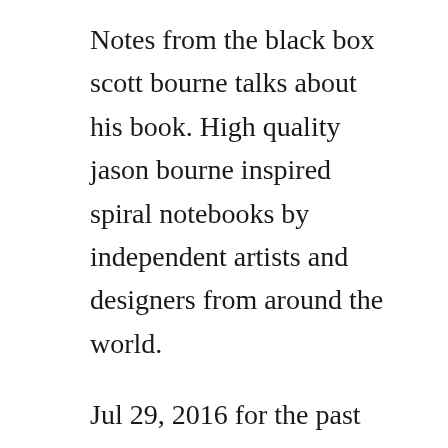Notes from the black box scott bourne talks about his book. High quality jason bourne inspired spiral notebooks by independent artists and designers from around the world.
Jul 29, 2016 for the past three bourne movies im not counting the jeremy rennerstarring bourne legacy, stiles has had a fairly substantial role as nicky parsons, the former treadstone logistics technician. Everyday low prices and free delivery on eligible orders. Covert ops the speed of sound declassified information wombosi on the private jet